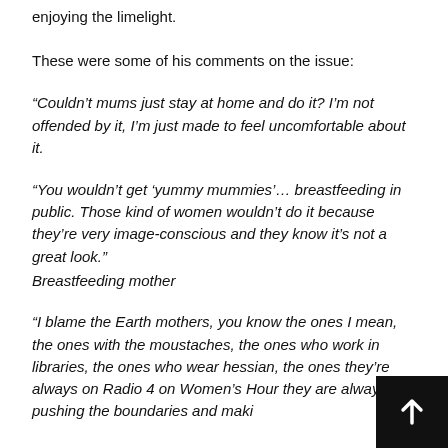enjoying the limelight.
These were some of his comments on the issue:
“Couldn’t mums just stay at home and do it? I’m not offended by it, I’m just made to feel uncomfortable about it.
“You wouldn’t get ‘yummy mummies’… breastfeeding in public. Those kind of women wouldn’t do it because they’re very image-conscious and they know it’s not a great look."
Breastfeeding mother
“I blame the Earth mothers, you know the ones I mean, the ones with the moustaches, the ones who work in libraries, the ones who wear hessian, the ones they’re always on Radio 4 on Women’s Hour they are always pushing the boundaries and maki…